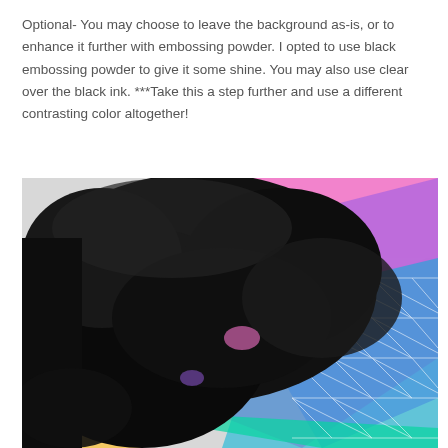Optional- You may choose to leave the background as-is, or to enhance it further with embossing powder. I opted to use black embossing powder to give it some shine. You may also use clear over the black ink. ***Take this a step further and use a different contrasting color altogether!
[Figure (photo): Close-up photo of black embossing powder applied over a rainbow/holographic neon-colored stenciled background (geometric diamond pattern in pink, purple, blue, green, yellow neons). The black powder is mounded thickly in the center and upper-left, partially obscuring the colorful pattern beneath. The background is white/light gray.]